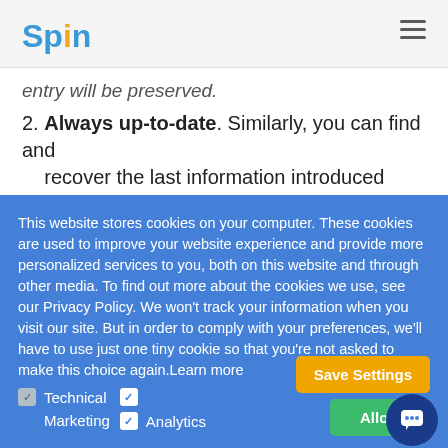Spin
entry will be preserved.
2. Always up-to-date. Similarly, you can find and recover the last information introduced before the cyber event (e.g. ransomware attack)
This website stores cookies on your computer. These cookies are used to improve your website experience and provide more personalized services to you, both on this website and through other media. To find out more about the cookies we use, see our Privacy Policy. We won't track your information when you visit our site. But in order to comply with your preferences, we'll have to use just one tiny cookie so that you're not asked to make this choice again.Learn more
Technical  Marketing  Analytics